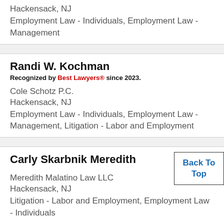Hackensack, NJ
Employment Law - Individuals, Employment Law - Management
Randi W. Kochman
Recognized by Best Lawyers® since 2023.
Cole Schotz P.C.
Hackensack, NJ
Employment Law - Individuals, Employment Law - Management, Litigation - Labor and Employment
Carly Skarbnik Meredith
Back To Top
Meredith Malatino Law LLC
Hackensack, NJ
Litigation - Labor and Employment, Employment Law - Individuals